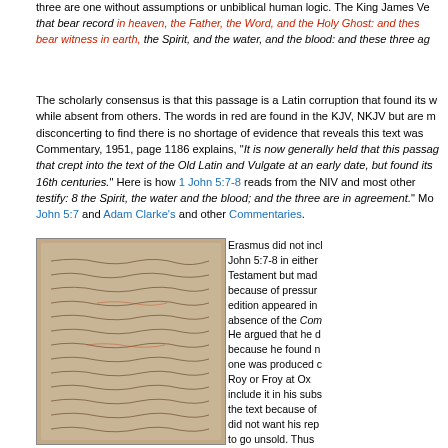three are one without assumptions or unbiblical human logic. The King James Ve... that bear record in heaven, the Father, the Word, and the Holy Ghost: and thes... bear witness in earth, the Spirit, and the water, and the blood: and these three ag...
The scholarly consensus is that this passage is a Latin corruption that found its w... while absent from others. The words in red are found in the KJV, NKJV but are m... disconcerting to find there is no shortage of evidence that reveals this text was... Commentary, 1951, page 1186 explains, "It is now generally held that this passag... that crept into the text of the Old Latin and Vulgate at an early date, but found its... 16th centuries." Here is how 1 John 5:7-8 reads from the NIV and most other... testify: 8 the Spirit, the water and the blood; and the three are in agreement." Mo... John 5:7 and Adam Clarke's and other Commentaries.
[Figure (photo): Ancient Greek manuscript page with handwritten text in Greek cursive script on aged parchment, brownish coloring]
Erasmus did not incl... John 5:7-8 in either... Testament but mad... because of pressur... edition appeared in... absence of the Com... He argued that he d... because he found n... one was produced c... Roy or Froy at Ox... include it in his subs... the text because of... did not want his rep... to go unsold. Thus... Testament in 1551 (... to be called the Text...